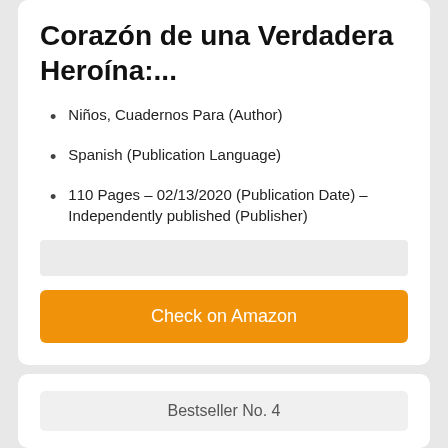Corazón de una Verdadera Heroína:...
Niños, Cuadernos Para (Author)
Spanish (Publication Language)
110 Pages – 02/13/2020 (Publication Date) – Independently published (Publisher)
Check on Amazon
Bestseller No. 4